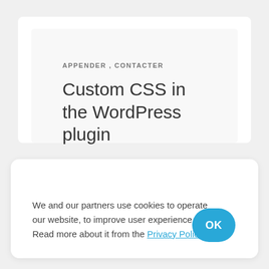APPENDER , CONTACTER
Custom CSS in the WordPress plugin
We and our partners use cookies to operate our website, to improve user experience. Read more about it from the Privacy Policy